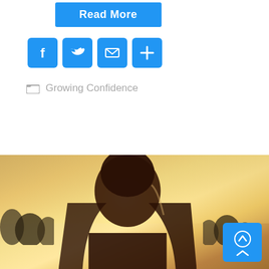[Figure (other): Blue 'Read More' button]
[Figure (other): Social sharing icons: Facebook, Twitter, Email, Share/Plus]
Growing Confidence
[Figure (photo): Photo of a woman seen from behind with long hair, backlit by a bright golden sunset in an open field, with trees silhouetted in the background. A blue scroll-to-top button is overlaid in the bottom right corner.]